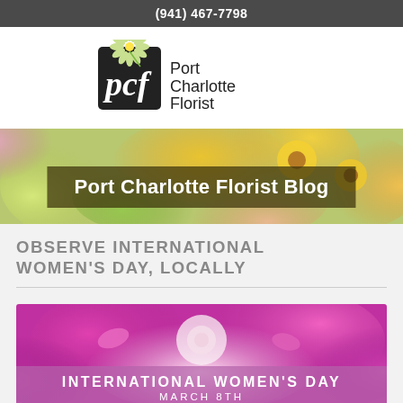(941) 467-7798
[Figure (logo): Port Charlotte Florist logo: black square with 'pcf' lettering and daisy flower, beside 'Port Charlotte Florist' text]
[Figure (photo): Colorful flower arrangement banner with mixed blooms in yellow, pink, green, orange]
Port Charlotte Florist Blog
OBSERVE INTERNATIONAL WOMEN'S DAY, LOCALLY
[Figure (photo): Pink and magenta flowers (roses, orchids) with overlay text 'INTERNATIONAL WOMEN'S DAY MARCH 8TH']